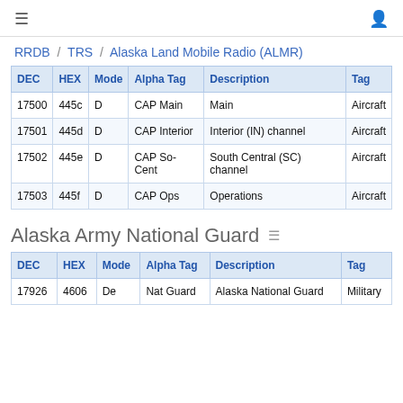≡  🔔
RRDB / TRS / Alaska Land Mobile Radio (ALMR)
| DEC | HEX | Mode | Alpha Tag | Description | Tag |
| --- | --- | --- | --- | --- | --- |
| 17500 | 445c | D | CAP Main | Main | Aircraft |
| 17501 | 445d | D | CAP Interior | Interior (IN) channel | Aircraft |
| 17502 | 445e | D | CAP So-Cent | South Central (SC) channel | Aircraft |
| 17503 | 445f | D | CAP Ops | Operations | Aircraft |
Alaska Army National Guard
| DEC | HEX | Mode | Alpha Tag | Description | Tag |
| --- | --- | --- | --- | --- | --- |
| 17926 | 4606 | De | Nat Guard | Alaska National Guard | Military |